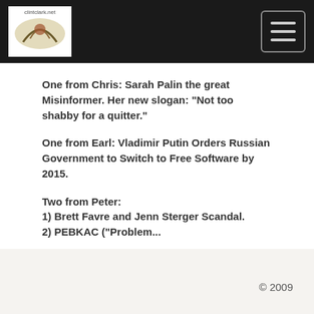[logo] [hamburger menu button]
One from Chris: Sarah Palin the great Misinformer. Her new slogan: "Not too shabby for a quitter."
One from Earl: Vladimir Putin Orders Russian Government to Switch to Free Software by 2015.
Two from Peter:
1) Brett Favre and Jenn Sterger Scandal.
2) PEBKAC ("Problem...
Read More
© 2009